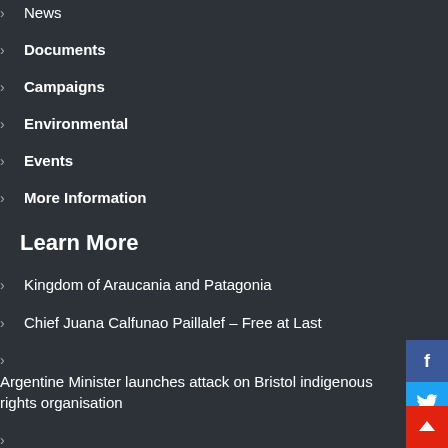News
Documents
Campaigns
Environmental
Events
More Information
Learn More
Kingdom of Araucania and Patagonia
Chief Juana Calfunao Paillalef – Free at Last
Argentine Minister launches attack on Bristol indigenous rights organisation
False Allegations Against Mapuche International Link by Argentinian Government